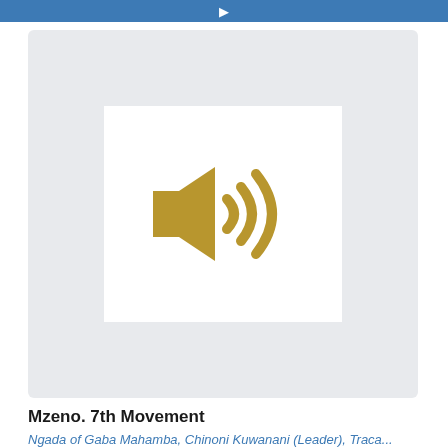[Figure (illustration): Audio player card with a large golden/tan speaker/sound icon on a light gray background inside a white square thumbnail]
Mzeno. 7th Movement
Ngada of Gaba Mahamba, Chinoni Kuwanani (Leader), Traca...